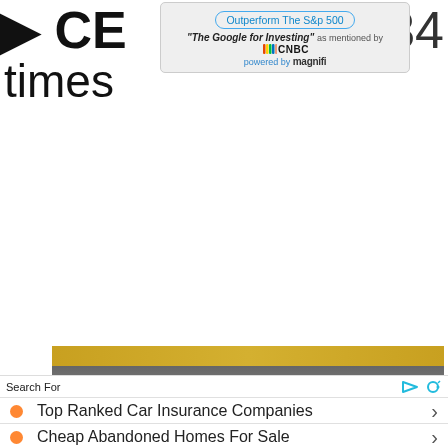CEO
334
times
[Figure (screenshot): Advertisement banner for Magnifi investing tool, as mentioned by CNBC. Text reads: 'Outperform The S&p 500', "The Google for Investing" as mentioned by CNBC, powered by magnifi]
[Figure (photo): Partial photo of a person, showing top of head, appears to be in a professional setting with blurred background]
Search For
Top Ranked Car Insurance Companies
Cheap Abandoned Homes For Sale